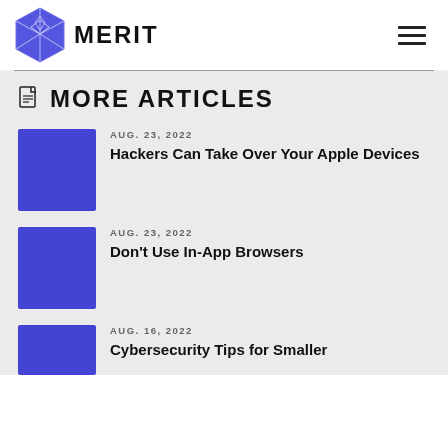MERIT
MORE ARTICLES
AUG. 23, 2022 — Hackers Can Take Over Your Apple Devices
AUG. 23, 2022 — Don’t Use In-App Browsers
AUG. 16, 2022 — Cybersecurity Tips for Smaller